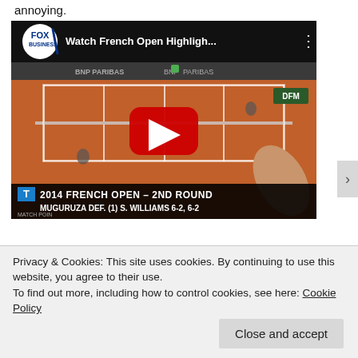annoying.
[Figure (screenshot): YouTube video thumbnail showing a Fox Business video titled 'Watch French Open Highligh...' with a tennis court scene at Roland Garros showing '2014 FRENCH OPEN - 2ND ROUND / MUGURUZA DEF. (1) S. WILLIAMS 6-2, 6-2'. A red YouTube play button is overlaid in the center. BNP PARIBAS banner visible across the top of the court.]
Privacy & Cookies: This site uses cookies. By continuing to use this website, you agree to their use.
To find out more, including how to control cookies, see here: Cookie Policy